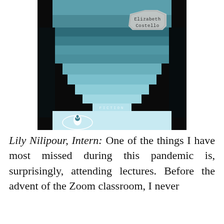[Figure (illustration): Book cover of 'Elizabeth Costello' by J.M. Coetzee — Penguin Fiction edition. Teal/blue-grey abstract layered horizontal bands (suggesting steps or stacked books). In the upper center is a grey octagonal label badge containing the text 'Elizabeth Costello' in monospaced typewriter font. In the lower left is the Penguin Books logo (white penguin in an oval). The word 'FICTION' appears in small spaced caps in the lower-center area.]
Lily Nilipour, Intern: One of the things I have most missed during this pandemic is, surprisingly, attending lectures. Before the advent of the Zoom classroom, I never